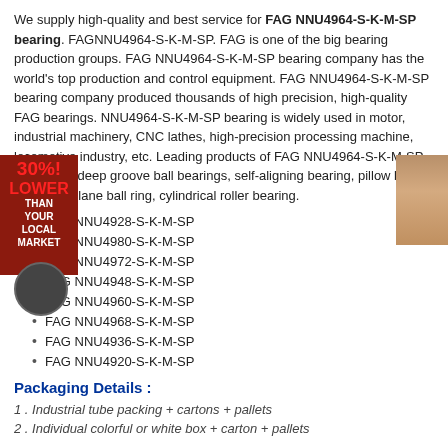We supply high-quality and best service for FAG NNU4964-S-K-M-SP bearing. FAGNNU4964-S-K-M-SP. FAG is one of the big bearing production groups. FAG NNU4964-S-K-M-SP bearing company has the world's top production and control equipment. FAG NNU4964-S-K-M-SP bearing company produced thousands of high precision, high-quality FAG bearings. NNU4964-S-K-M-SP bearing is widely used in motor, industrial machinery, CNC lathes, high-precision processing machine, locomotive industry, etc. Leading products of FAG NNU4964-S-K-M-SP bearing is: deep groove ball bearings, self-aligning bearing, pillow block bearings, plane ball ring, cylindrical roller bearing.
FAG NNU4928-S-K-M-SP
FAG NNU4980-S-K-M-SP
FAG NNU4972-S-K-M-SP
FAG NNU4948-S-K-M-SP
FAG NNU4960-S-K-M-SP
FAG NNU4968-S-K-M-SP
FAG NNU4936-S-K-M-SP
FAG NNU4920-S-K-M-SP
Packaging Details :
1 . Industrial tube packing + cartons + pallets
2 . Individual colorful or white box + carton + pallets